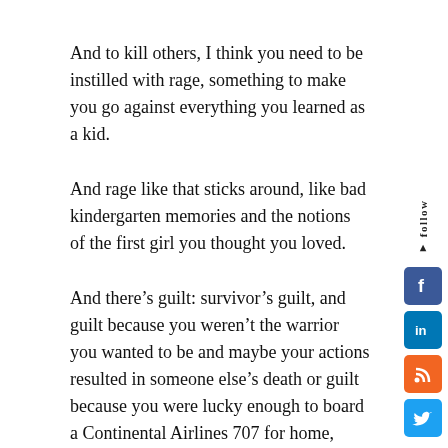And to kill others, I think you need to be instilled with rage, something to make you go against everything you learned as a kid.
And rage like that sticks around, like bad kindergarten memories and the notions of the first girl you thought you loved.
And there’s guilt: survivor’s guilt, and guilt because you weren’t the warrior you wanted to be and maybe your actions resulted in someone else’s death or guilt because you were lucky enough to board a Continental Airlines 707 for home, leaving your mates behind to fight and die.
And shame, too, is another ghost that